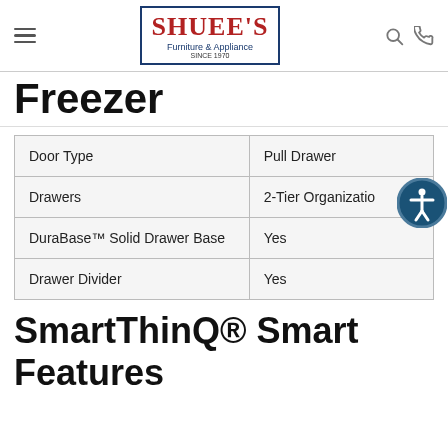[Figure (logo): Shuee's Furniture & Appliance logo with navigation icons (hamburger menu, search, phone)]
Freezer
| Door Type | Pull Drawer |
| Drawers | 2-Tier Organization |
| DuraBase™ Solid Drawer Base | Yes |
| Drawer Divider | Yes |
SmartThinQ® Smart Features